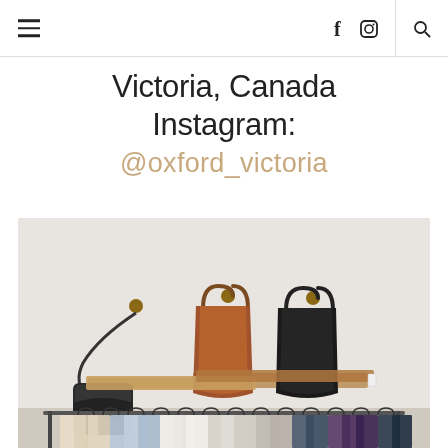Navigation header with hamburger menu, Facebook icon, Instagram icon, and search icon
Victoria, Canada Instagram: @oxford_victoria
[Figure (photo): Interior of a clothing boutique store showing bags hung on wooden pegs on a white wall (black crossbody bag, brown tote, black tote) above a wooden shelf, with a clothing rack below holding various garments on hangers in neutral and cool tones.]